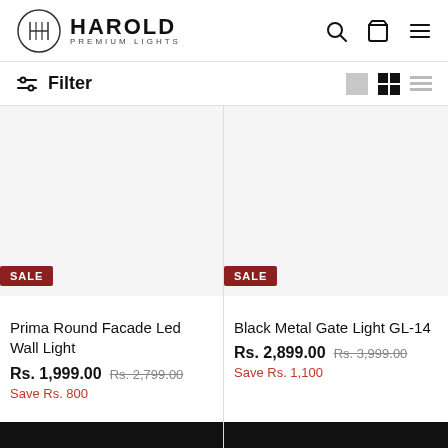HAROLD PREMIUM LIGHTS
Filter
[Figure (screenshot): Product image placeholder for Prima Round Facade Led Wall Light — light grey background, empty]
SALE
Prima Round Facade Led Wall Light
Rs. 1,999.00  Rs. 2,799.00  Save Rs. 800
[Figure (screenshot): Product image placeholder for Black Metal Gate Light GL-14 — light grey background, empty]
SALE
Black Metal Gate Light GL-14
Rs. 2,899.00  Rs. 3,999.00  Save Rs. 1,100